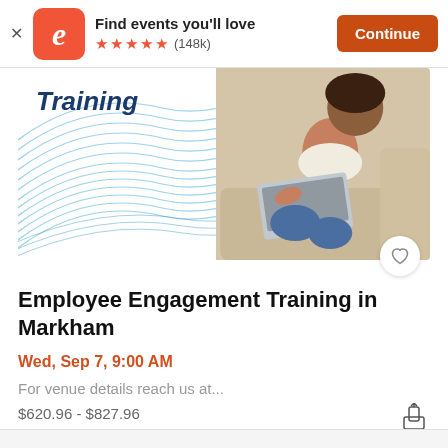Find events you'll love ★★★★★ (148k) Continue
[Figure (photo): Employee Engagement Training event banner with blue wave graphic and woman using laptop on a couch]
Employee Engagement Training in Markham
Wed, Sep 7, 9:00 AM
For venue details reach us at...
$620.96 - $827.96